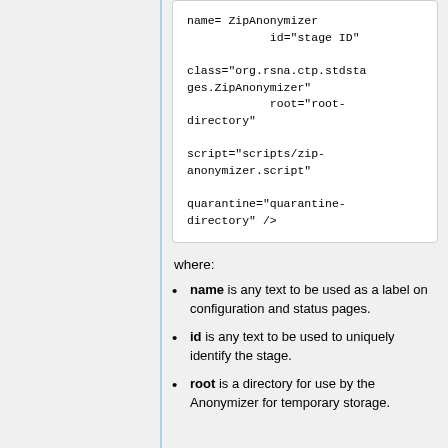[Figure (other): Code block showing XML configuration snippet with name=ZipAnonymizer, id="stage ID", class="org.rsna.ctp.stdstages.ZipAnonymizer", root="root-directory", script="scripts/zip-anonymizer.script", quarantine="quarantine-directory" />]
where:
name is any text to be used as a label on configuration and status pages.
id is any text to be used to uniquely identify the stage.
root is a directory for use by the Anonymizer for temporary storage.